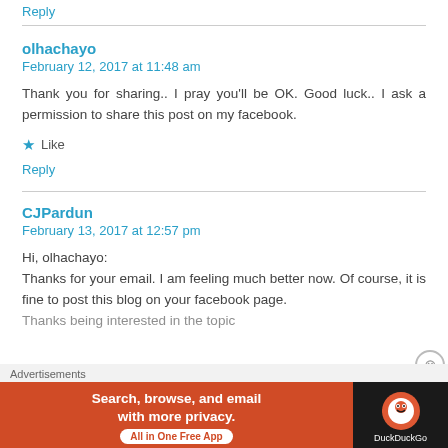Reply
olhachayo
February 12, 2017 at 11:48 am
Thank you for sharing.. I pray you'll be OK. Good luck.. I ask a permission to share this post on my facebook.
★ Like
Reply
CJPardun
February 13, 2017 at 12:57 pm
Hi, olhachayo:
Thanks for your email. I am feeling much better now. Of course, it is fine to post this blog on your facebook page.
Thanks being interested in the topic
Advertisements
[Figure (screenshot): DuckDuckGo advertisement banner: 'Search, browse, and email with more privacy. All in One Free App' with DuckDuckGo logo on dark background]